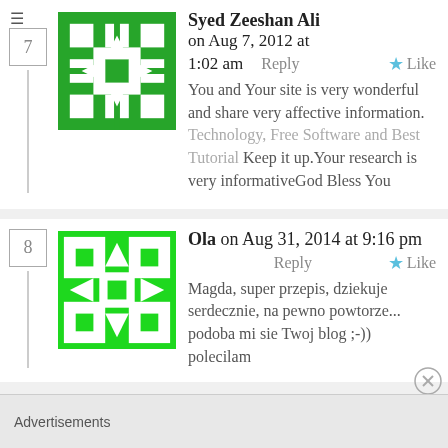Syed Zeeshan Ali on Aug 7, 2012 at 1:02 am  Reply  Like
You and Your site is very wonderful and share very affective information. Technology, Free Software and Best Tutorial Keep it up.Your research is very informativeGod Bless You
Ola on Aug 31, 2014 at 9:16 pm  Reply  Like
Magda, super przepis, dziekuje serdecznie, na pewno powtorze... podoba mi sie Twoj blog ;-)) polecilam
Advertisements